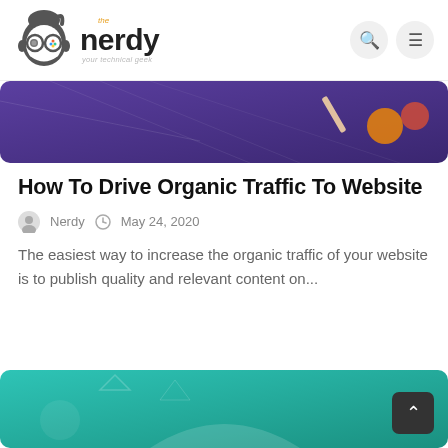The Nerdy — your technical geek
[Figure (illustration): Purple/dark blue banner image with geometric lines and orange/red decorative elements on the right side, partially visible (top cropped)]
How To Drive Organic Traffic To Website
Nerdy  May 24, 2020
The easiest way to increase the organic traffic of your website is to publish quality and relevant content on...
[Figure (illustration): Teal/cyan gradient banner image, partially visible at bottom of page]